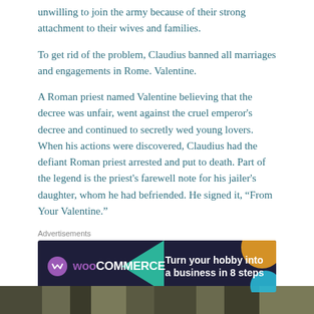unwilling to join the army because of their strong attachment to their wives and families.
To get rid of the problem, Claudius banned all marriages and engagements in Rome. Valentine.
A Roman priest named Valentine believing that the decree was unfair, went against the cruel emperor's decree and continued to secretly wed young lovers. When his actions were discovered, Claudius had the defiant Roman priest arrested and put to death. Part of the legend is the priest's farewell note for his jailer's daughter, whom he had befriended. He signed it, “From Your Valentine.”
Advertisements
[Figure (other): WooCommerce advertisement banner: dark navy background with teal and orange decorative shapes, WooCommerce logo on left, text 'Turn your hobby into a business in 8 steps' on right]
REPORT THIS AD
[Figure (photo): Bottom strip of a photograph, partially visible]